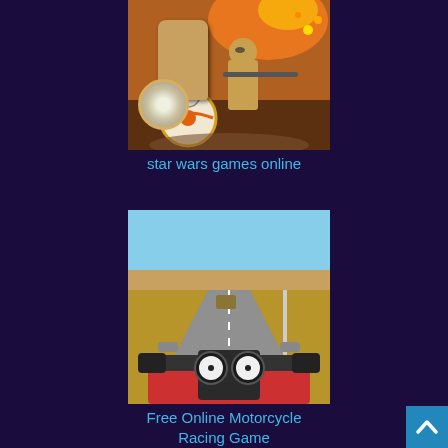[Figure (photo): Lego Star Wars characters including BB-8 droid and a Lego figure holding a weapon, with explosion and action scene in background]
star wars games online
[Figure (photo): First-person view of a motorcycle racing game showing the road, handlebar, and dashboard of the motorcycle with a desert highway scene]
Free Online Motorcycle Racing Game
[Figure (other): Scroll-to-top button with upward arrow chevron in blue]